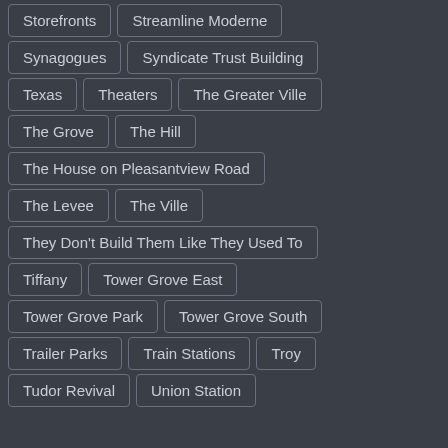Storefronts
Streamline Moderne
Synagogues
Syndicate Trust Building
Texas
Theaters
The Greater Ville
The Grove
The Hill
The House on Pleasantview Road
The Levee
The Ville
They Don't Build Them Like They Used To
Tiffany
Tower Grove East
Tower Grove Park
Tower Grove South
Trailer Parks
Train Stations
Troy
Tudor Revival
Union Station